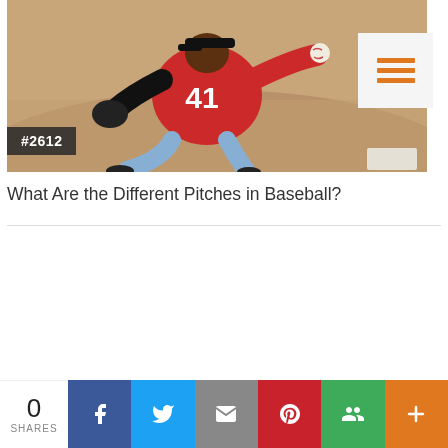[Figure (photo): Baseball pitcher wearing red jersey number 41 mid-throw on a mound, with #2612 badge overlay in bottom left corner and a menu icon (three orange horizontal lines on light grey background) in the top right corner.]
What Are the Different Pitches in Baseball?
[Figure (logo): Microsoft Teams purple logo icon]
0 SHARES